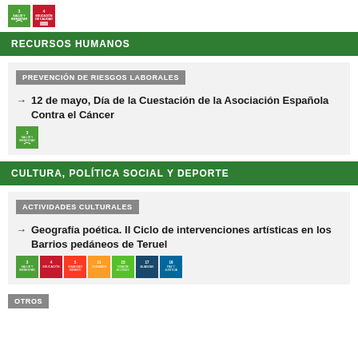[Figure (logo): Two SDG icons: SDG3 (green with health symbol) and SDG4 (red with book/education symbol)]
RECURSOS HUMANOS
PREVENCIÓN DE RIESGOS LABORALES
12 de mayo, Día de la Cuestación de la Asociación Española Contra el Cáncer
[Figure (logo): SDG3 icon (green, health/wellbeing)]
CULTURA, POLÍTICA SOCIAL Y DEPORTE
ACTIVIDADES CULTURALES
Geografía poética. II Ciclo de intervenciones artísticas en los Barrios pedáneos de Teruel
[Figure (logo): Seven SDG icons: SDG3, SDG4, SDG5, SDG11, SDG15, SDG17, SDG16]
OTROS